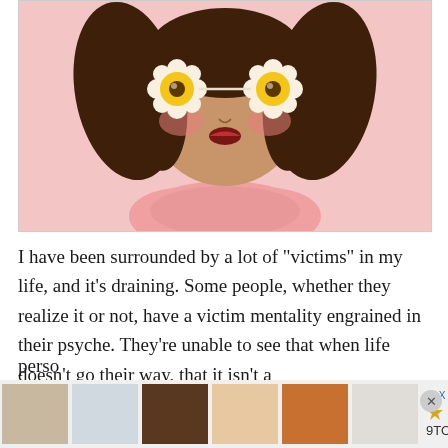[Figure (illustration): Illustration of a girl with dark hair in pigtails wearing large round flower-shaped glasses with yellow centers, pink cheeks, dark red lips, and a pink top/shirt, on a light pink background.]
I have been surrounded by a lot of "victims" in my life, and it's draining. Some people, whether they realize it or not, have a victim mentality engrained in their psyche. They're unable to see that when life doesn't go their way, that it isn't a perso...